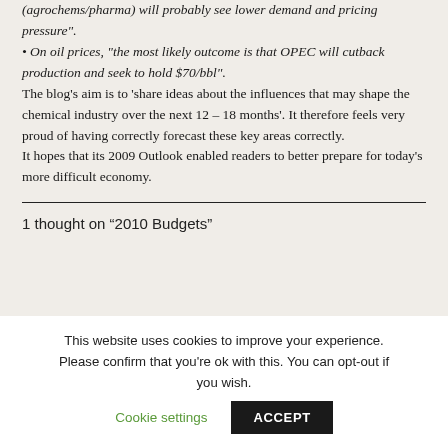(agrochems/pharma) will probably see lower demand and pricing pressure". • On oil prices, "the most likely outcome is that OPEC will cutback production and seek to hold $70/bbl". The blog's aim is to 'share ideas about the influences that may shape the chemical industry over the next 12 – 18 months'. It therefore feels very proud of having correctly forecast these key areas correctly. It hopes that its 2009 Outlook enabled readers to better prepare for today's more difficult economy.
1 thought on “2010 Budgets”
This website uses cookies to improve your experience. Please confirm that you're ok with this. You can opt-out if you wish.